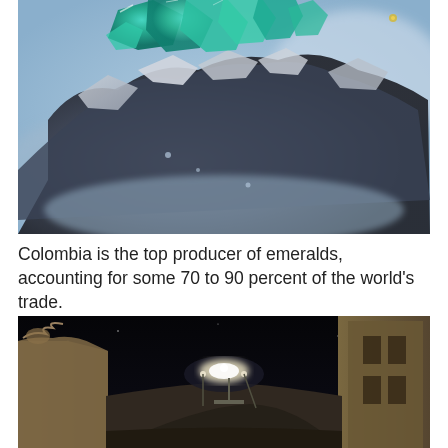[Figure (photo): Close-up photograph of raw emerald crystal formation with teal/green gemstones on a grey rocky matrix, with blurry light blue background]
Colombia is the top producer of emeralds, accounting for some 70 to 90 percent of the world's trade.
[Figure (photo): Nighttime photograph of a narrow street or alleyway with old stone buildings, dark sky, and lights visible in the background suggesting a hillside scene]